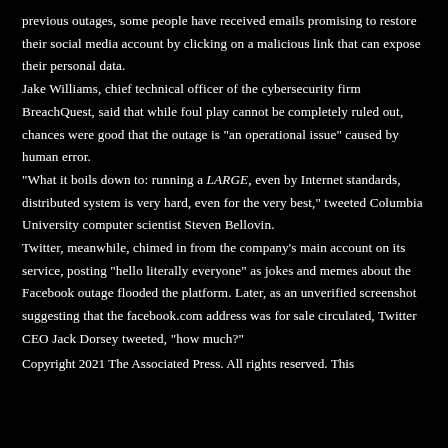previous outages, some people have received emails promising to restore their social media account by clicking on a malicious link that can expose their personal data. Jake Williams, chief technical officer of the cybersecurity firm BreachQuest, said that while foul play cannot be completely ruled out, chances were good that the outage is "an operational issue" caused by human error. "What it boils down to: running a LARGE, even by Internet standards, distributed system is very hard, even for the very best," tweeted Columbia University computer scientist Steven Bellovin. Twitter, meanwhile, chimed in from the company's main account on its service, posting "hello literally everyone" as jokes and memes about the Facebook outage flooded the platform. Later, as an unverified screenshot suggesting that the facebook.com address was for sale circulated, Twitter CEO Jack Dorsey tweeted, "how much?"
Copyright 2021 The Associated Press. All rights reserved. This